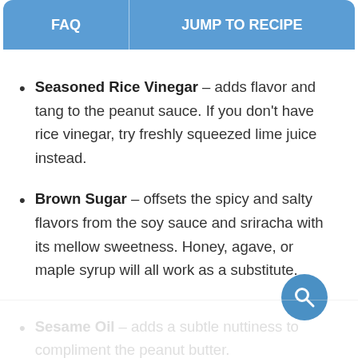FAQ | JUMP TO RECIPE
Seasoned Rice Vinegar – adds flavor and tang to the peanut sauce. If you don't have rice vinegar, try freshly squeezed lime juice instead.
Brown Sugar – offsets the spicy and salty flavors from the soy sauce and sriracha with its mellow sweetness. Honey, agave, or maple syrup will all work as a substitute.
Sesame Oil – adds a subtle nuttiness to compliment the peanut butter.